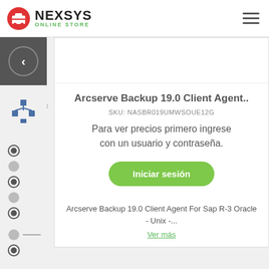NEXSYS ONLINE STORE
Arcserve Backup 19.0 Client Agent..
SKU: NASBR019UMWSOUE12G
Para ver precios primero ingrese con un usuario y contraseña.
Iniciar sesión
Arcserve Backup 19.0 Client Agent For Sap R-3 Oracle - Unix -...
Ver más